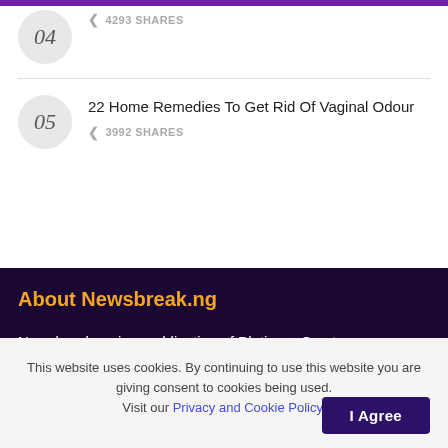04 · 4293 SHARES
05 · 22 Home Remedies To Get Rid Of Vaginal Odour · 3992 SHARES
About Newsbreak.ng
Newsbreak.ng is a publication of Platinum Crest Communications Limited. We are a broad-spectrum
This website uses cookies. By continuing to use this website you are giving consent to cookies being used. Visit our Privacy and Cookie Policy. I Agree